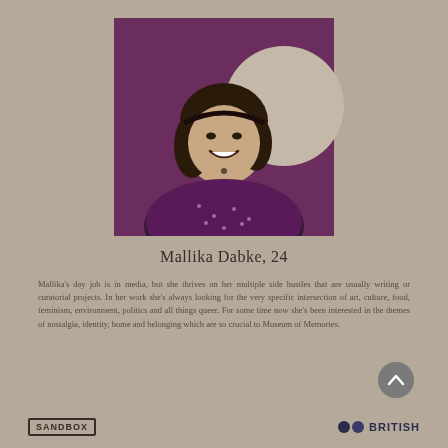[Figure (photo): Black and white portrait photo of Mallika Dabke, a smiling woman, on a purple/mauve rectangular background with a grey circle accent behind her head]
Mallika Dabke, 24
Mallika's day job is in media, but she thrives on her multiple side hustles that are usually writing or curatorial projects. In her work she's always looking for the very specific intersection of art, culture, food, feminism, environment, politics and all things queer. For some time now she's been interested in the themes of nostalgia, identity, home and belonging which are so crucial to Museum of Memories.
[Figure (logo): Sandbox logo in a rectangular border]
[Figure (logo): British logo with two overlapping dark circles and the word BRITISH]